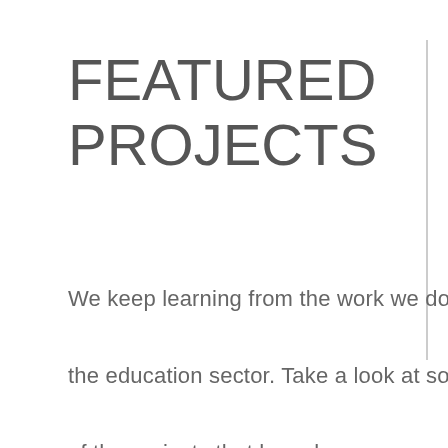FEATURED PROJECTS
We keep learning from the work we do in the education sector. Take a look at some of the projects that have been successful in making schools and colleges great environments to learn.